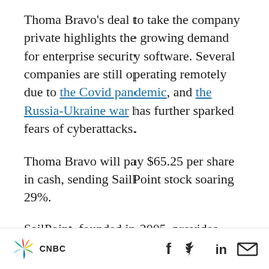Thoma Bravo's deal to take the company private highlights the growing demand for enterprise security software. Several companies are still operating remotely due to the Covid pandemic, and the Russia-Ukraine war has further sparked fears of cyberattacks.
Thoma Bravo will pay $65.25 per share in cash, sending SailPoint stock soaring 29%.
SailPoint, founded in 2005, provides software for identity and access management to help organizations mitigate security risks. The company went public in 2017.
CNBC | social icons: Facebook, Twitter, LinkedIn, Email